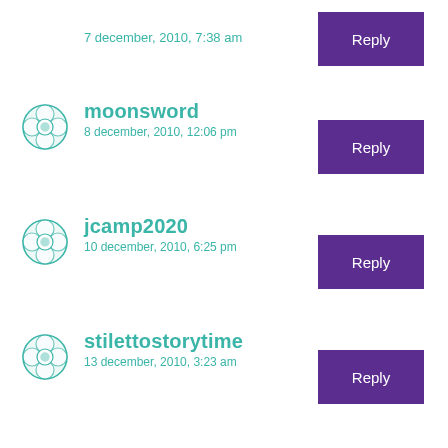7 december, 2010, 7:38 am
moonsword
8 december, 2010, 12:06 pm
jcamp2020
10 december, 2010, 6:25 pm
stilettostorytime
13 december, 2010, 3:23 am